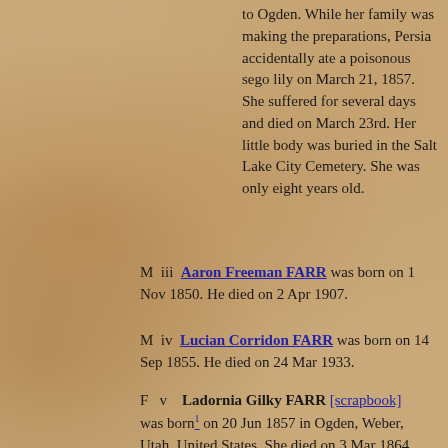to Ogden. While her family was making the preparations, Persia accidentally ate a poisonous sego lily on March 21, 1857. She suffered for several days and died on March 23rd. Her little body was buried in the Salt Lake City Cemetery. She was only eight years old.
M iii Aaron Freeman FARR was born on 1 Nov 1850. He died on 2 Apr 1907.
M iv Lucian Corridon FARR was born on 14 Sep 1855. He died on 24 Mar 1933.
F v Ladornia Gilky FARR [scrapbook] was born on 20 Jun 1857 in Ogden, Weber, Utah, United States. She died on 3 Mar 1864.